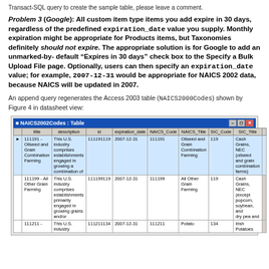Transact-SQL query to create the sample table, please leave a comment.
Problem 3 (Google): All custom item type items you add expire in 30 days, regardless of the predefined expiration_date value you supply. Monthly expiration might be appropriate for Products items, but Taxonomies definitely should not expire. The appropriate solution is for Google to add an unmarked-by-default "Expires in 30 days" check box to the Specify a Bulk Upload File page. Optionally, users can then specify an expiration_date value; for example, 2007-12-31 would be appropriate for NAICS 2002 data, because NAICS will be updated in 2007.
An append query regenerates the Access 2003 table (NAICS2000Codes) shown by Figure 4 in datasheet view:
[Figure (screenshot): Screenshot of Microsoft Access 2003 table named NAICS2002Codes in datasheet view, showing columns: title, description, id, expiration_date, NAICS_Code, NAICS_Title, SIC_Code, SIC_Title. Three rows visible: 111191 - Oilseed and Grain Combination Farming; 111199 - All Other Grain Farming; 111211 - (cut off).]